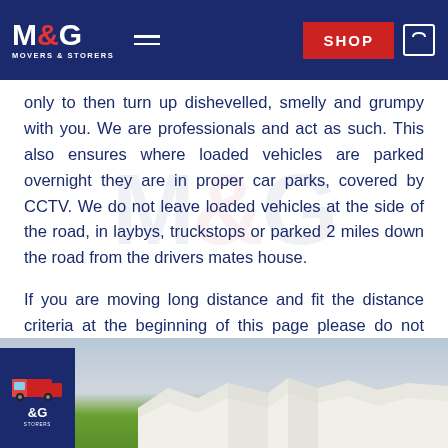M&G MOVERS & STORERS — Navigation bar with SHOP button
only to then turn up dishevelled, smelly and grumpy with you. We are professionals and act as such. This also ensures where loaded vehicles are parked overnight they are in proper car parks, covered by CCTV. We do not leave loaded vehicles at the side of the road, in laybys, truckstops or parked 2 miles down the road from the drivers mates house.
If you are moving long distance and fit the distance criteria at the beginning of this page please do not hesitate to get in touch.
[Figure (photo): Photo of white cliffs (likely White Cliffs of Dover) under a cloudy sky, with a green grassy foreground and partial view of M&G Movers & Storers van/logo in the bottom-left corner]